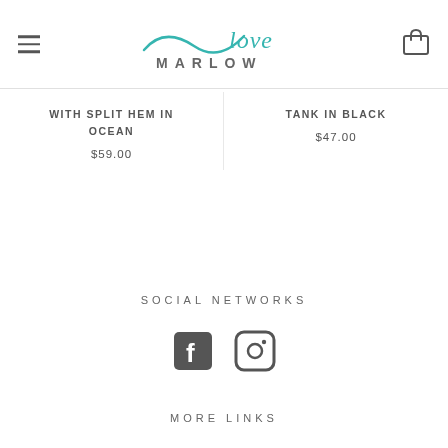love MARLOW
WITH SPLIT HEM IN OCEAN $59.00
TANK IN BLACK $47.00
SOCIAL NETWORKS
[Figure (logo): Facebook and Instagram social media icons]
MORE LINKS